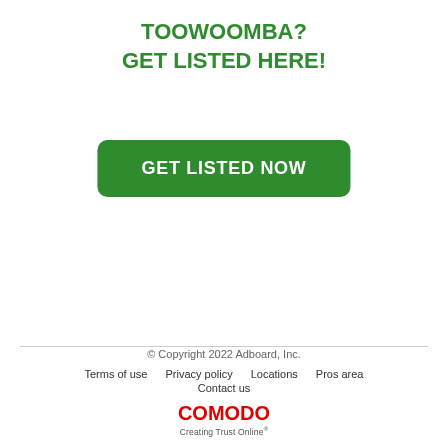TOOWOOMBA?
GET LISTED HERE!
GET LISTED NOW
© Copyright 2022 Adboard, Inc.
Terms of use   Privacy policy   Locations   Pros area
Contact us
COMODO Creating Trust Online®